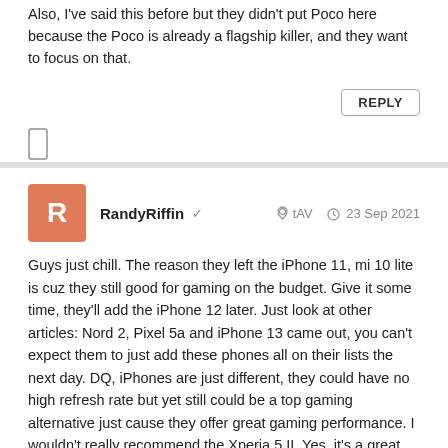Also, I've said this before but they didn't put Poco here because the Poco is already a flagship killer, and they want to focus on that.
REPLY
RandyRiffin  tAV  23 Sep 2021
Guys just chill. The reason they left the iPhone 11, mi 10 lite is cuz they still good for gaming on the budget. Give it some time, they'll add the iPhone 12 later. Just look at other articles: Nord 2, Pixel 5a and iPhone 13 came out, you can't expect them to just add these phones all on their lists the next day. DQ, iPhones are just different, they could have no high refresh rate but yet still could be a top gaming alternative just cause they offer great gaming performance. I wouldn't really recommend the Xperia 5 II. Yes, it's a great phone but it just costs way to much for what it is.
REPLY